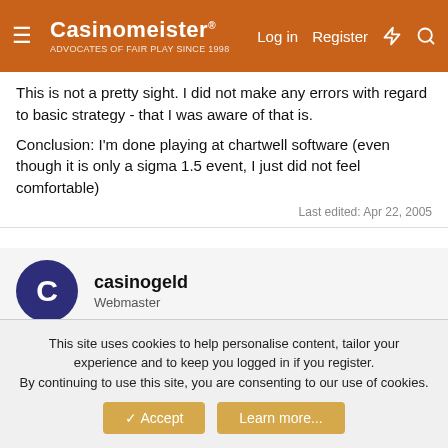Casinomeister® ADVOCATES OF FAIR PLAY SINCE 1998 | Log in | Register
This is not a pretty sight. I did not make any errors with regard to basic strategy - that I was aware of that is.
Conclusion: I'm done playing at chartwell software (even though it is only a sigma 1.5 event, I just did not feel comfortable)
Last edited: Apr 22, 2005
casinogeld
Webmaster
Apr 22, 2005  #25
I have had 4 players trying Eurobet.com who also uses Chartwell.( I always have players trying the casinos before they
This site uses cookies to help personalise content, tailor your experience and to keep you logged in if you register.
By continuing to use this site, you are consenting to our use of cookies.
Accept  Learn more...